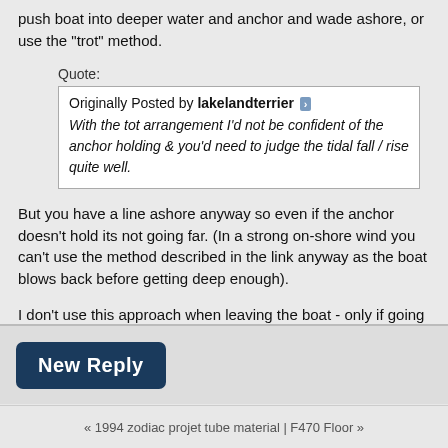push boat into deeper water and anchor and wade ashore, or use the "trot" method.
Quote:
Originally Posted by lakelandterrier
With the tot arrangement I'd not be confident of the anchor holding & you'd need to judge the tidal fall / rise quite well.
But you have a line ashore anyway so even if the anchor doesn't hold its not going far. (In a strong on-shore wind you can't use the method described in the link anyway as the boat blows back before getting deep enough).
I don't use this approach when leaving the boat - only if going ashore for a "picnic" or bbq etc and adjust the anchor depth as required.
« 1994 zodiac projet tube material | F470 Floor »